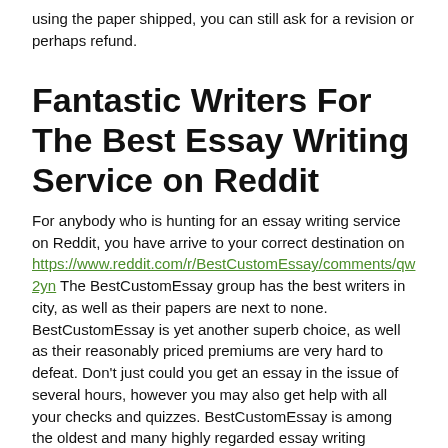using the paper shipped, you can still ask for a revision or perhaps refund.
Fantastic Writers For The Best Essay Writing Service on Reddit
For anybody who is hunting for an essay writing service on Reddit, you have arrive to your correct destination on https://www.reddit.com/r/BestCustomEssay/comments/qw2yn The BestCustomEssay group has the best writers in city, as well as their papers are next to none. BestCustomEssay is yet another superb choice, as well as their reasonably priced premiums are very hard to defeat. Don't just could you get an essay in the issue of several hours, however you may also get help with all your checks and quizzes. BestCustomEssay is among the oldest and many highly regarded essay writing services on Reddit, as well as their writers are trained to help with the demands.